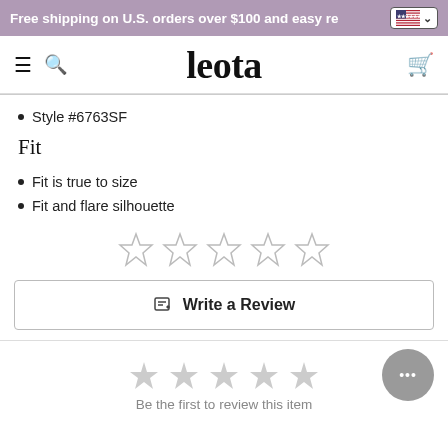Free shipping on U.S. orders over $100 and easy re
[Figure (logo): Leota brand logo with hamburger menu, search icon, and cart icon]
Style #6763SF
Fit
Fit is true to size
Fit and flare silhouette
[Figure (other): Five empty star rating icons in a row]
Write a Review
[Figure (other): Five empty star rating icons in a row (smaller, gray)]
Be the first to review this item